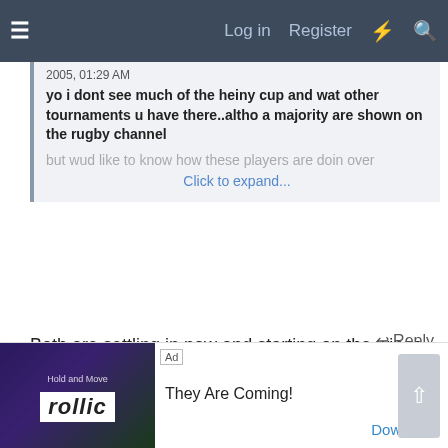≡  Log in  Register  ⚡  🔍
2005, 01:29 AM
yo i dont see much of the heiny cup and wat other tournaments u have there..altho a majority are shown on the rugby channel
but wud like to know how these players are doin over   Click to expand...
Both are settling in now and starting on the wings this week-end.

Lima in his first 2 games took out his oppsoing centre in both, Tindall and some London Irish guy! [broken image] His injuries have been playing him up recently though. [broken image]
↩ Reply
Ad  They Are Coming!  Download